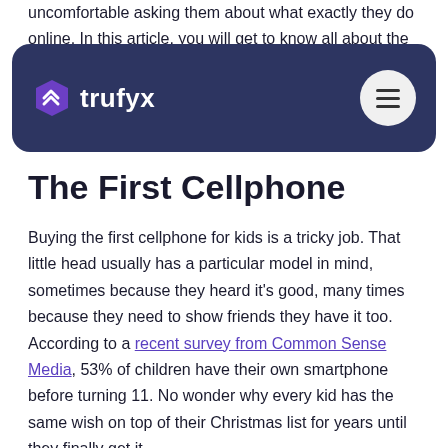uncomfortable asking them about what exactly they do online. In this article, you will get to know all about the effective cellphone parental control to follow to protect your kids and keep them safe.
[Figure (logo): Trufyx website navigation bar with purple rounded rectangle background, Trufyx logo on left (purple hexagon icon with white arrow and 'trufyx' text in white), and hamburger menu button (three horizontal lines) in a white circle on the right.]
The First Cellphone
Buying the first cellphone for kids is a tricky job. That little head usually has a particular model in mind, sometimes because they heard it's good, many times because they need to show friends they have it too. According to a recent survey from Common Sense Media, 53% of children have their own smartphone before turning 11. No wonder why every kid has the same wish on top of their Christmas list for years until they finally get it.